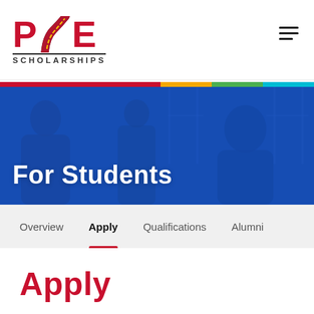[Figure (logo): POE Scholarships logo with winding road graphic between P and E, red text, with SCHOLARSHIPS in small caps below]
[Figure (photo): Hero banner image with blue tint overlay showing students in a classroom setting, with large white text 'For Students']
Overview  Apply  Qualifications  Alumni
Apply